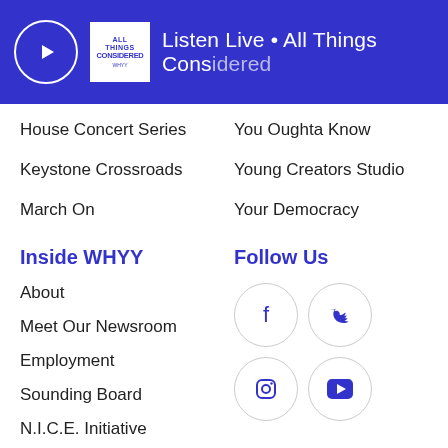Listen Live • All Things Considered
House Concert Series
You Oughta Know
Keystone Crossroads
Young Creators Studio
March On
Your Democracy
Inside WHYY
Follow Us
About
Meet Our Newsroom
Employment
Sounding Board
N.I.C.E. Initiative
Contact Us
Sponsorship
Directions
FCC Public Files
[Figure (illustration): Social media icons: Facebook, Twitter, Instagram, YouTube in circular outlines]